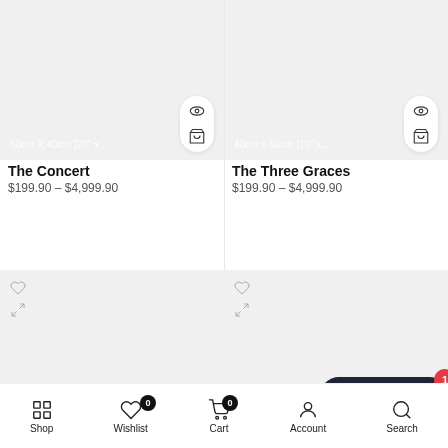[Figure (screenshot): Product image placeholder for The Concert, showing size label 50cm X 40cm [20" x...] with eye and cart action buttons]
The Concert
$199.90 – $4,999.90
[Figure (screenshot): Product image placeholder for The Three Graces, showing size label 40cm x 50cm [16" x...] with eye and cart action buttons]
The Three Graces
$199.90 – $4,999.90
[Figure (screenshot): Partial product card image placeholder with wishlist heart icon and resize icon]
[Figure (screenshot): Partial product card image placeholder with wishlist heart icon and resize icon, Chat with us widget with badge 1]
Shop  Wishlist 0  Cart 0  Account  Search